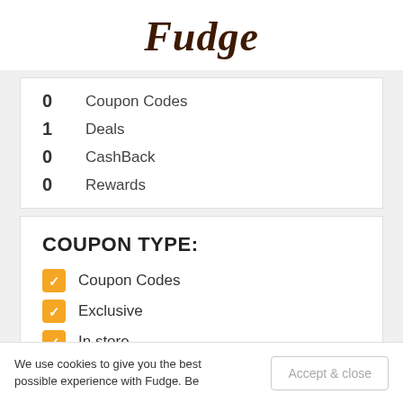Fudge
0  Coupon Codes
1  Deals
0  CashBack
0  Rewards
COUPON TYPE:
Coupon Codes
Exclusive
In store
Offers/Deals
We use cookies to give you the best possible experience with Fudge. Be
Accept & close